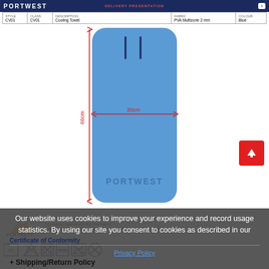PORTWEST - DELIVERY PRESENTATION
| STYLE | CLASS | DESCRIPTION | FABRIC | COLOUR |
| --- | --- | --- | --- | --- |
| CV01 | CV01 | Cooling Towel | PVA Multizone 2 mm | Blue |
[Figure (illustration): Technical diagram of a cooling towel product (blue rectangle with rounded corners), with dimension annotations: 66cm height and 30cm width marked with red arrows. PORTWEST branding on the towel.]
[Figure (logo): Portwest company logo with mountain graphic]
COPYRIGHT AND PROTECTED: PORTWEST - VERIFY AT PORTWEST AND TECHNOLOGY FOR REALISATION, EXAMPLE BELOW:
[Figure (other): Laundry/care symbols: wash at 40, do not bleach, do not tumble dry, dry flat, do not iron, do not dry clean]
Our website uses cookies to improve your experience and record usage statistics. By using our site you consent to cookies as described in our
Certificate of Conformity
Privacy Policy
+ Shipping/Return Policy